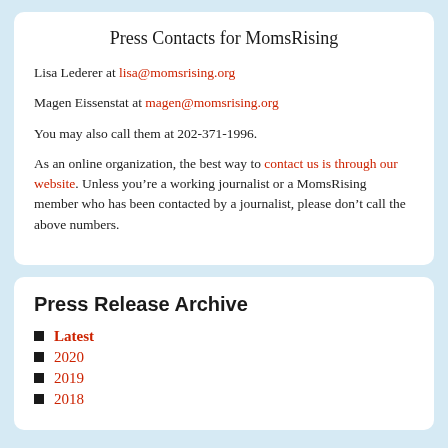Press Contacts for MomsRising
Lisa Lederer at lisa@momsrising.org
Magen Eissenstat at magen@momsrising.org
You may also call them at 202-371-1996.
As an online organization, the best way to contact us is through our website. Unless you’re a working journalist or a MomsRising member who has been contacted by a journalist, please don’t call the above numbers.
Press Release Archive
Latest
2020
2019
2018